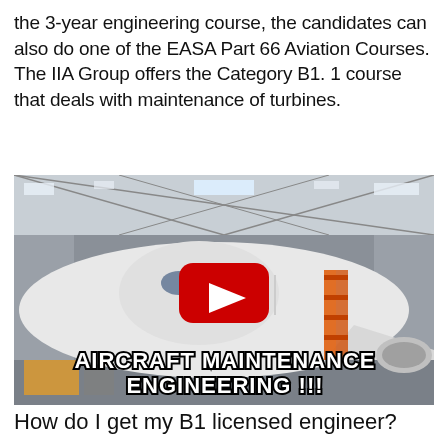the 3-year engineering course, the candidates can also do one of the EASA Part 66 Aviation Courses. The IIA Group offers the Category B1. 1 course that deals with maintenance of turbines.
[Figure (photo): YouTube video thumbnail showing an aircraft in a maintenance hangar with ground equipment. Bold white text overlay reads 'AIRCRAFT MAINTENANCE ENGINEERING !!!' with a red YouTube play button overlay in the center.]
How do I get my B1 licensed engineer?